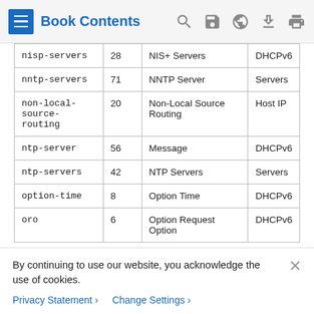Book Contents
| nisp-servers | 28 | NIS+ Servers | DHCPv6 |
| nntp-servers | 71 | NNTP Server | Servers |
| non-local-source-routing | 20 | Non-Local Source Routing | Host IP |
| ntp-server | 56 | Message | DHCPv6 |
| ntp-servers | 42 | NTP Servers | Servers |
| option-time | 8 | Option Time | DHCPv6 |
| oro | 6 | Option Request Option | DHCPv6 |
By continuing to use our website, you acknowledge the use of cookies.
Privacy Statement > Change Settings >